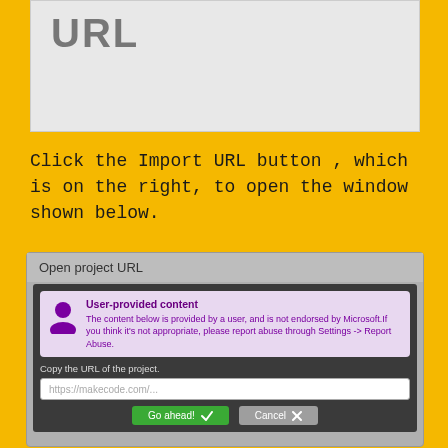[Figure (screenshot): A screenshot showing a grey interface panel with the title 'URL' partially visible at the top.]
Click the Import URL button , which is on the right, to open the window shown below.
[Figure (screenshot): A dialog box titled 'Open project URL' with a dark body. It contains a purple user-provided content warning box with a user icon, text fields showing 'Copy the URL of the project.' with placeholder 'https://makecode.com/...', and two buttons: 'Go ahead!' (green with checkmark) and 'Cancel' (grey with X).]